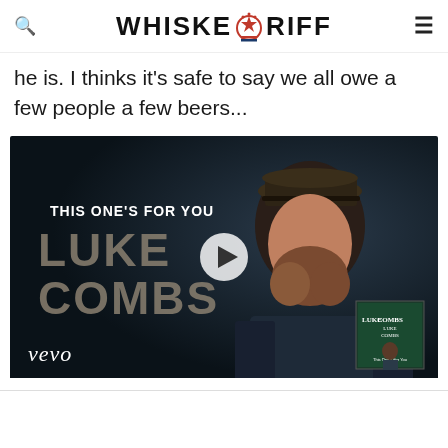WHISKEYRIFF
he is. I thinks it's safe to say we all owe a few people a few beers...
[Figure (screenshot): Luke Combs 'This One's For You' Vevo music video thumbnail with play button, showing Luke Combs wearing a cap, with album art thumbnail in bottom right corner and Vevo logo in bottom left]